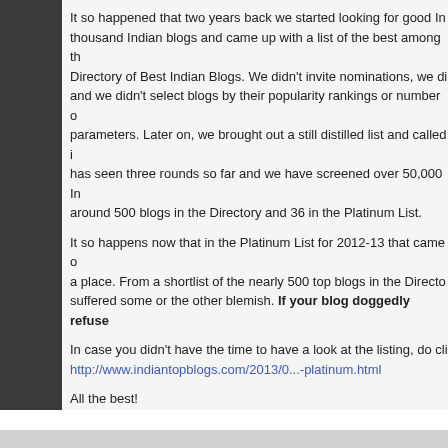It so happened that two years back we started looking for good Indian blogs and came across several thousand Indian blogs and came up with a list of the best among them and called it the Directory of Best Indian Blogs. We didn't invite nominations, we didn't accept applications and we didn't select blogs by their popularity rankings or number of visitors or similar parameters. Later on, we brought out a still distilled list and called it the Platinum List. This has seen three rounds so far and we have screened over 50,000 Indian blogs and now have around 500 blogs in the Directory and 36 in the Platinum List.
It so happens now that in the Platinum List for 2012-13 that came out, your blog has made a place. From a shortlist of the nearly 500 top blogs in the Directory, several were dropped as they suffered some or the other blemish. If your blog doggedly refuse
In case you didn't have the time to have a look at the listing, do click on http://www.indiantopblogs.com/2013/0...-platinum.html
All the best!
ITB team
Save the Tiger
Profile - http://www.indiawilds.com/about.htm
Film Preview - http://www.indiawilds.com/diary/maki...he-last-stand
Equipment Review - http://www.indiawilds.com/diary/category/equi
[Figure (other): YouTube subscribe button showing 3K subscribers]